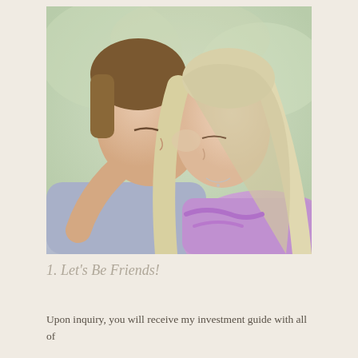[Figure (photo): A couple leaning foreheads together with eyes closed in an intimate moment. The man is on the left wearing a light purple/lavender shirt. The woman on the right has long blonde highlighted hair and wears a purple ruffled dress. Background is soft blurred greenery.]
1. Let's Be Friends!
Upon inquiry, you will receive my investment guide with all of